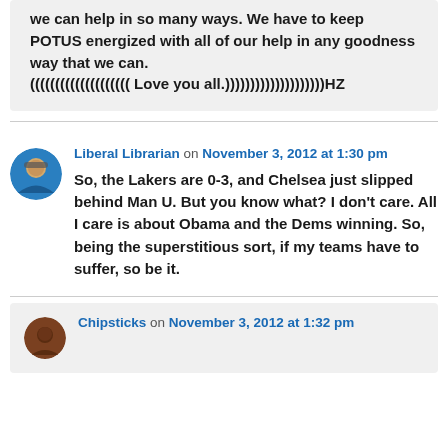we can help in so many ways. We have to keep POTUS energized with all of our help in any goodness way that we can. (((((((((((((((((((( Love you all.))))))))))))))))))))HZ
Liberal Librarian on November 3, 2012 at 1:30 pm
So, the Lakers are 0-3, and Chelsea just slipped behind Man U. But you know what? I don't care. All I care is about Obama and the Dems winning. So, being the superstitious sort, if my teams have to suffer, so be it.
Chipsticks on November 3, 2012 at 1:32 pm